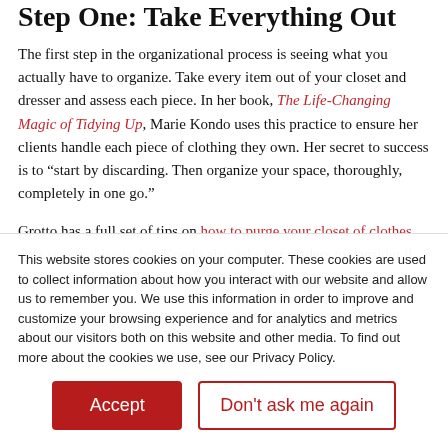Step One: Take Everything Out
The first step in the organizational process is seeing what you actually have to organize. Take every item out of your closet and dresser and assess each piece. In her book, The Life-Changing Magic of Tidying Up, Marie Kondo uses this practice to ensure her clients handle each piece of clothing they own. Her secret to success is to “start by discarding. Then organize your space, thoroughly, completely in one go.”
Grotto has a full set of tips on how to purge your closet of clothes on a seasonal basis, but Kondo also asks her readers to consider if an item sparks joy. This is a wonderful way to
This website stores cookies on your computer. These cookies are used to collect information about how you interact with our website and allow us to remember you. We use this information in order to improve and customize your browsing experience and for analytics and metrics about our visitors both on this website and other media. To find out more about the cookies we use, see our Privacy Policy.